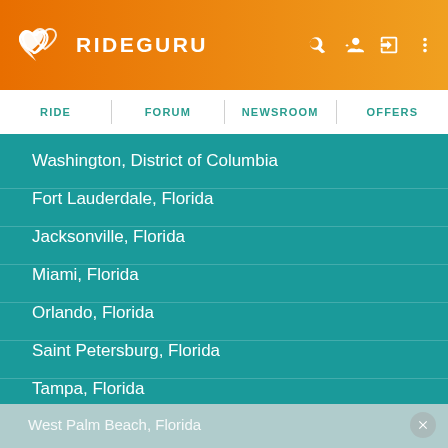RIDEGURU
RIDE | FORUM | NEWSROOM | OFFERS
Washington, District of Columbia
Fort Lauderdale, Florida
Jacksonville, Florida
Miami, Florida
Orlando, Florida
Saint Petersburg, Florida
Tampa, Florida
West Palm Beach, Florida